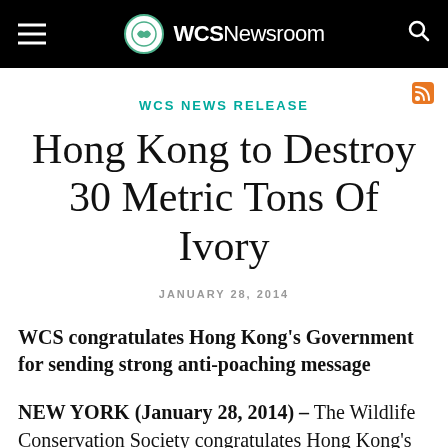WCSNewsroom
WCS NEWS RELEASE
Hong Kong to Destroy 30 Metric Tons Of Ivory
JANUARY 28, 2014
WCS congratulates Hong Kong's Government for sending strong anti-poaching message
NEW YORK (January 28, 2014) – The Wildlife Conservation Society congratulates Hong Kong's